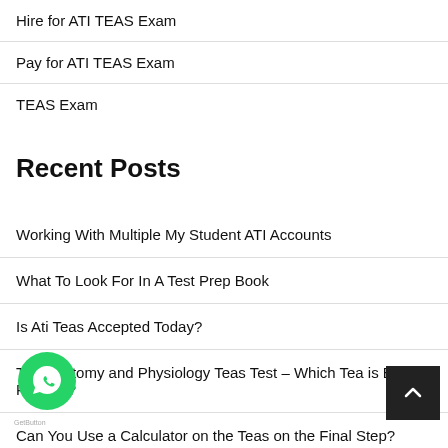Hire for ATI TEAS Exam
Pay for ATI TEAS Exam
TEAS Exam
Recent Posts
Working With Multiple My Student ATI Accounts
What To Look For In A Test Prep Book
Is Ati Teas Accepted Today?
The Anatomy and Physiology Teas Test – Which Tea is Best For You?
Can You Use a Calculator on the Teas on the Final Step?